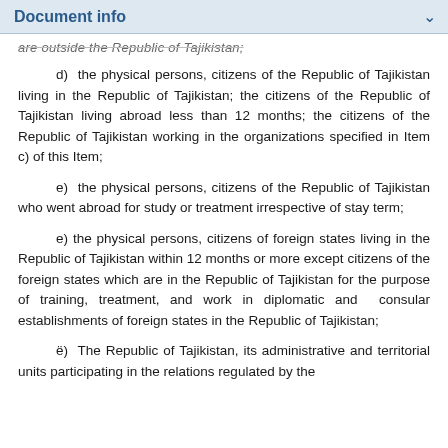Document info
are outside the Republic of Tajikistan;
d) the physical persons, citizens of the Republic of Tajikistan living in the Republic of Tajikistan; the citizens of the Republic of Tajikistan living abroad less than 12 months; the citizens of the Republic of Tajikistan working in the organizations specified in Item c) of this Item;
e) the physical persons, citizens of the Republic of Tajikistan who went abroad for study or treatment irrespective of stay term;
e) the physical persons, citizens of foreign states living in the Republic of Tajikistan within 12 months or more except citizens of the foreign states which are in the Republic of Tajikistan for the purpose of training, treatment, and work in diplomatic and consular establishments of foreign states in the Republic of Tajikistan;
ë) The Republic of Tajikistan, its administrative and territorial units participating in the relations regulated by the